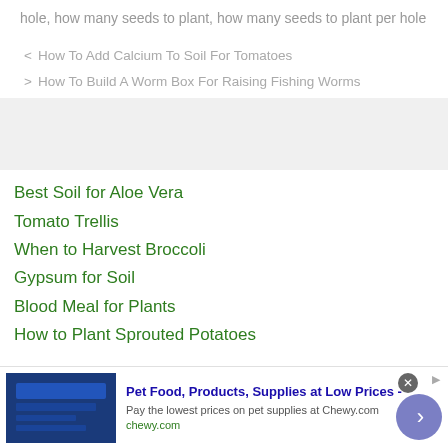hole, how many seeds to plant, how many seeds to plant per hole
< How To Add Calcium To Soil For Tomatoes
> How To Build A Worm Box For Raising Fishing Worms
Best Soil for Aloe Vera
Tomato Trellis
When to Harvest Broccoli
Gypsum for Soil
Blood Meal for Plants
How to Plant Sprouted Potatoes
[Figure (other): Advertisement banner for Chewy.com pet food and supplies]